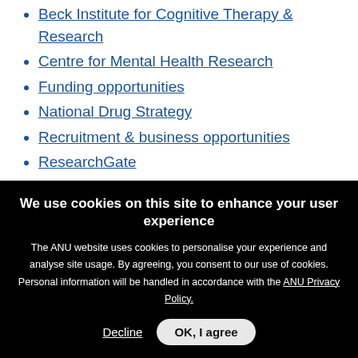Beck Institute for Cognitive Therapy & Research
Centre for Mental Health Research
Funding opportunities
National Drug Strategy
Recruitment & business opportunities
ResearchGate
Social Psychology Network
Vision Science
International bodies
We use cookies on this site to enhance your user experience
The ANU website uses cookies to personalise your experience and analyse site usage. By agreeing, you consent to our use of cookies. Personal information will be handled in accordance with the ANU Privacy Policy.
Decline  OK, I agree